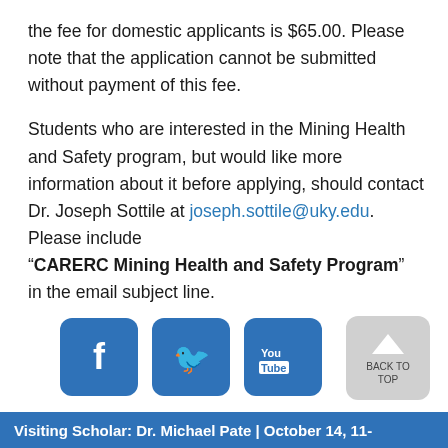the fee for domestic applicants is $65.00. Please note that the application cannot be submitted without payment of this fee.
Students who are interested in the Mining Health and Safety program, but would like more information about it before applying, should contact Dr. Joseph Sottile at joseph.sottile@uky.edu.  Please include “CARERC Mining Health and Safety Program” in the email subject line.
[Figure (infographic): Social media icons: Facebook, Twitter, YouTube (blue rounded square icons), and a Back to Top button (light gray rounded square with upward arrow)]
Visiting Scholar: Dr. Michael Pate | October 14, 11-